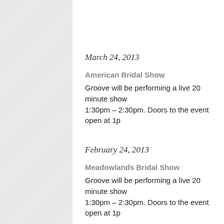March 24, 2013
American Bridal Show
Groove will be performing a live 20 minute show 1:30pm – 2:30pm. Doors to the event open at 1p
February 24, 2013
Meadowlands Bridal Show
Groove will be performing a live 20 minute show 1:30pm – 2:30pm. Doors to the event open at 1p